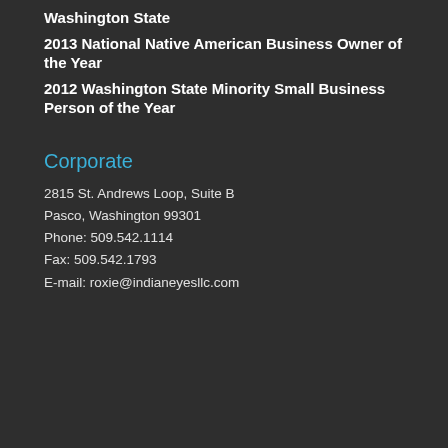Washington State
2013 National Native American Business Owner of the Year
2012 Washington State Minority Small Business Person of the Year
Corporate
2815 St. Andrews Loop, Suite B
Pasco, Washington 99301
Phone: 509.542.1114
Fax: 509.542.1793
E-mail: roxie@indianeyesllc.com